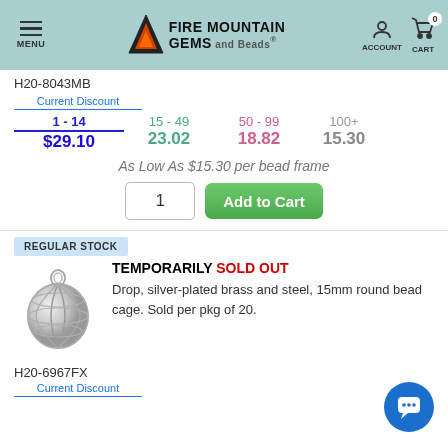Fire Mountain Gems and Beads - MENU, ACCOUNT, CART 0
H20-8043MB
Current Discount
1 - 14  $29.10
15 - 49  23.02
50 - 99  18.82
100+  15.30
As Low As $15.30 per bead frame
1  Add to Cart
REGULAR STOCK
TEMPORARILY SOLD OUT
Drop, silver-plated brass and steel, 15mm round bead cage. Sold per pkg of 20.
[Figure (photo): Silver-plated round bead cage pendant, drop shaped, 15mm]
H20-6967FX
Current Discount